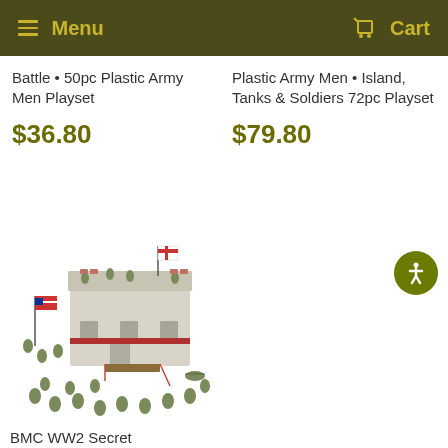Menu   Cart
Battle • 50pc Plastic Army Men Playset
$36.80
Plastic Army Men • Island, Tanks & Soldiers 72pc Playset
$79.80
[Figure (photo): BMC WW2 playset with plastic army men, military building with flags, soldiers in various poses]
BMC WW2 Secret